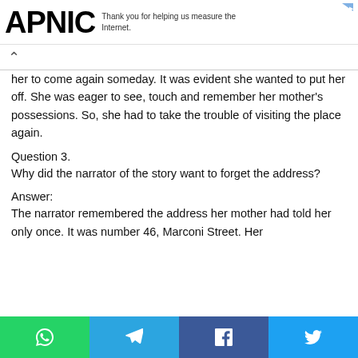APNIC — Thank you for helping us measure the Internet.
her to come again someday. It was evident she wanted to put her off. She was eager to see, touch and remember her mother's possessions. So, she had to take the trouble of visiting the place again.
Question 3.
Why did the narrator of the story want to forget the address?
Answer:
The narrator remembered the address her mother had told her only once. It was number 46, Marconi Street. Her